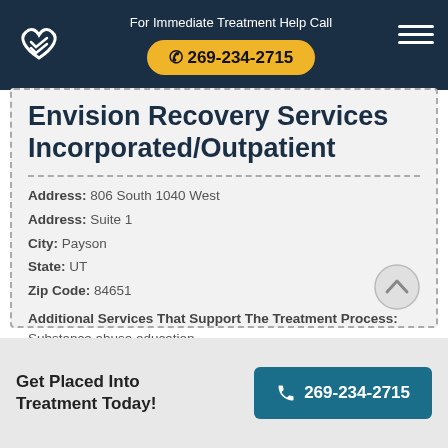For Immediate Treatment Help Call 269-234-2715
Envision Recovery Services Incorporated/Outpatient
Address: 806 South 1040 West
Address: Suite 1
City: Payson
State: UT
Zip Code: 84651
Additional Services That Support The Treatment Process: Substance abuse education
Learn More About This Rehab
Get Placed Into Treatment Today! 269-234-2715